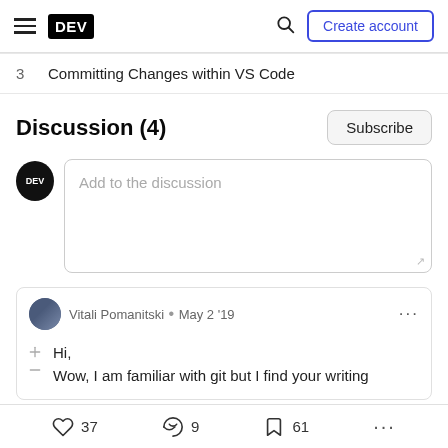DEV | Create account
3  Committing Changes within VS Code
Discussion (4)
Add to the discussion
Vitali Pomanitski • May 2 '19
Hi,
Wow, I am familiar with git but I find your writing
37  9  61  ...